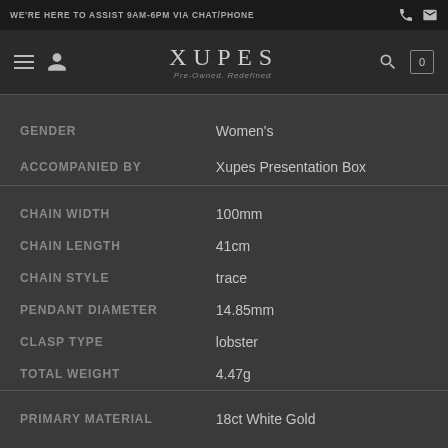WE'RE HERE TO ASSIST 9AM-6PM VIA CHAT/PHONE
XUPES — Pre-Owned. Redefined.
| Attribute | Value |
| --- | --- |
| GENDER | Women's |
| ACCOMPANIED BY | Xupes Presentation Box |
| CHAIN WIDTH | 100mm |
| CHAIN LENGTH | 41cm |
| CHAIN STYLE | trace |
| PENDANT DIAMETER | 14.85mm |
| CLASP TYPE | lobster |
| TOTAL WEIGHT | 4.47g |
| PRIMARY MATERIAL | 18ct White Gold |